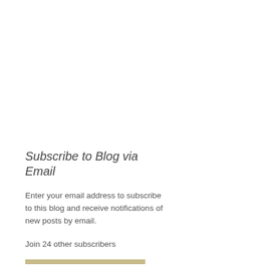Subscribe to Blog via Email
Enter your email address to subscribe to this blog and receive notifications of new posts by email.
Join 24 other subscribers